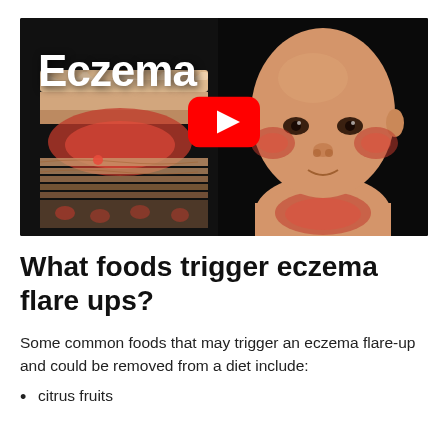[Figure (screenshot): Video thumbnail showing the word 'Eczema' in bold white text on a black background, with a YouTube play button in the center. On the left is a 3D cross-section illustration of skin showing inflammation (redness). On the right is a 3D rendered bald child with red rashes on cheeks and chest/neck area.]
What foods trigger eczema flare ups?
Some common foods that may trigger an eczema flare-up and could be removed from a diet include:
citrus fruits